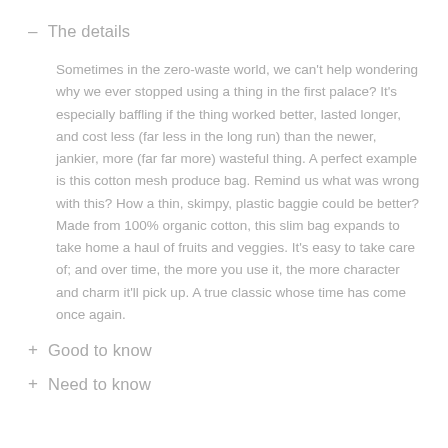– The details
Sometimes in the zero-waste world, we can't help wondering why we ever stopped using a thing in the first palace? It's especially baffling if the thing worked better, lasted longer, and cost less (far less in the long run) than the newer, jankier, more (far far more) wasteful thing. A perfect example is this cotton mesh produce bag. Remind us what was wrong with this? How a thin, skimpy, plastic baggie could be better? Made from 100% organic cotton, this slim bag expands to take home a haul of fruits and veggies. It's easy to take care of; and over time, the more you use it, the more character and charm it'll pick up. A true classic whose time has come once again.
+ Good to know
+ Need to know